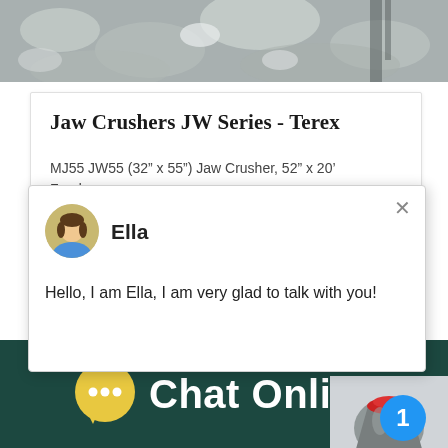[Figure (photo): Top grayscale photo of rock/quarry material being processed by crushing equipment]
Jaw Crushers JW Series - Terex
MJ55 JW55 (32” x 55”) Jaw Crusher, 52” x 20’ Feeder 200 hp (150 kW) 255 – 760 (231 - 690) (6) 40ft shipping
[Figure (screenshot): Chat popup overlay with avatar of Ella and greeting message: Hello, I am Ella, I am very glad to talk with you!]
150 hp (110 kW) 155 – 480 (140-435) 3 A (42,015 Kg) CRJ3255 JW55 (32” x 55”) J
[Figure (photo): Photo of a cone crusher machine (red and grey industrial crusher)]
[Figure (infographic): Blue chat button labeled 'Click me to chat>>' with notification badge showing 1]
Chat Online